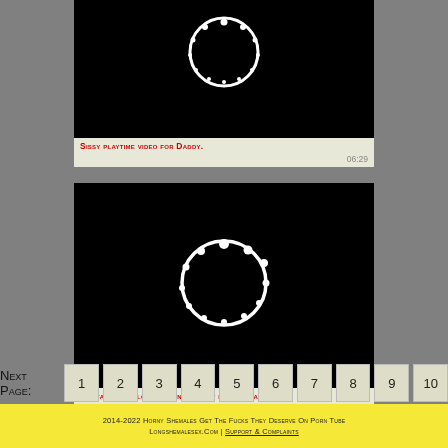[Figure (screenshot): Video thumbnail with black background and circular loading spinner icon, for video titled Sissy playtime video for Daddy., duration 06:29]
Sissy playtime video for Daddy.
06:29
[Figure (screenshot): Video thumbnail with black background and circular loading spinner icon, for video titled Big fake tits blonde asian ladyboy blowjob a..., duration 45:17]
Big fake tits blonde asian ladyboy blowjob a...
45:17
Next Page: 1 2 3 4 5 6 7 8 9 10
2014-2022 Horny Shemales Get The Fucks They Deserve On Porn Tube Longshemalesex.Com | Support & Complaints